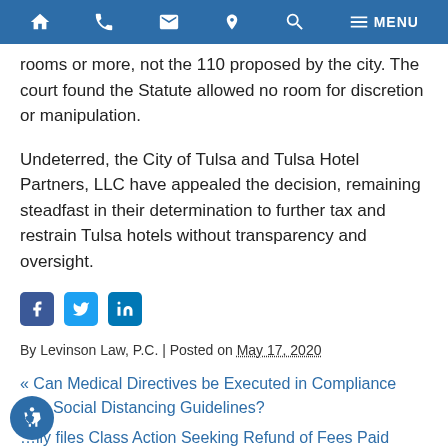Navigation bar with home, phone, email, location, search, and menu icons
rooms or more, not the 110 proposed by the city. The court found the Statute allowed no room for discretion or manipulation.
Undeterred, the City of Tulsa and Tulsa Hotel Partners, LLC have appealed the decision, remaining steadfast in their determination to further tax and restrain Tulsa hotels without transparency and oversight.
[Figure (other): Social share icons: Facebook, Twitter, LinkedIn]
By Levinson Law, P.C. | Posted on May 17, 2020
« Can Medical Directives be Executed in Compliance with Social Distancing Guidelines?
…ily files Class Action Seeking Refund of Fees Paid